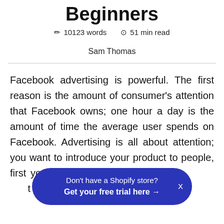Beginners
✏ 10123 words   🕐 51 min read
Sam Thomas
Facebook advertising is powerful. The first reason is the amount of consumer's attention that Facebook owns; one hour a day is the amount of time the average user spends on Facebook. Advertising is all about attention; you want to introduce your product to people, first you need their attention before you can sell it. Facebook ... attention to
Don't have a Shopify store? Get your free trial here →  X